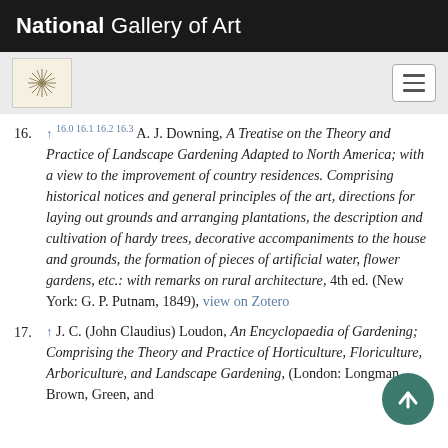National Gallery of Art
[Figure (logo): National Gallery of Art starburst logo and navigation bar with hamburger menu button]
16. ↑ 16.0 16.1 16.2 16.3 A. J. Downing, A Treatise on the Theory and Practice of Landscape Gardening Adapted to North America; with a view to the improvement of country residences. Comprising historical notices and general principles of the art, directions for laying out grounds and arranging plantations, the description and cultivation of hardy trees, decorative accompaniments to the house and grounds, the formation of pieces of artificial water, flower gardens, etc.: with remarks on rural architecture, 4th ed. (New York: G. P. Putnam, 1849), view on Zotero
17. ↑ J. C. (John Claudius) Loudon, An Encyclopaedia of Gardening; Comprising the Theory and Practice of Horticulture, Floriculture, Arboriculture, and Landscape Gardening, (London: Longman, Brown, Green, and [continues])